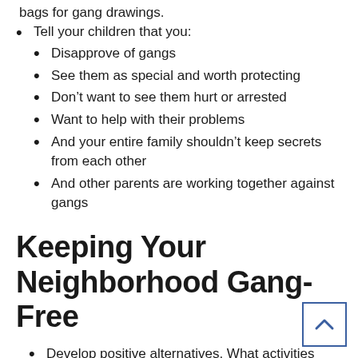bags for gang drawings.
Tell your children that you:
Disapprove of gangs
See them as special and worth protecting
Don’t want to see them hurt or arrested
Want to help with their problems
And your entire family shouldn’t keep secrets from each other
And other parents are working together against gangs
Keeping Your Neighborhood Gang-Free
Develop positive alternatives. What activities currently exist for after-school involvement? What can you do to support them? What recreational facilities exist for your people? Support positive